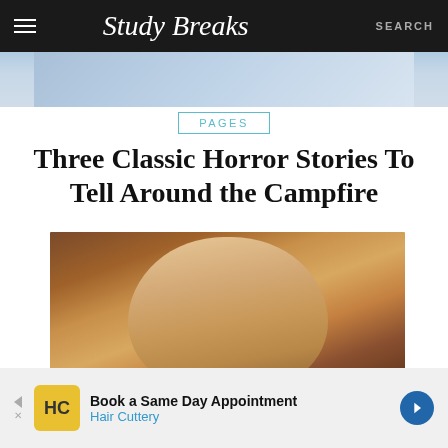StudyBreaks — SEARCH
[Figure (photo): Cropped hero banner image at top of article]
PAGES
Three Classic Horror Stories To Tell Around the Campfire
[Figure (illustration): Digital painted portrait of an elderly man with glasses, dark blazer, against a warm brown background]
Book a Same Day Appointment
Hair Cuttery